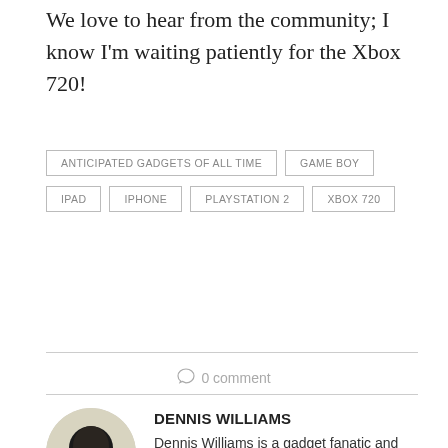We love to hear from the community; I know I'm waiting patiently for the Xbox 720!
ANTICIPATED GADGETS OF ALL TIME
GAME BOY
IPAD
IPHONE
PLAYSTATION 2
XBOX 720
0 comment
DENNIS WILLIAMS
Dennis Williams is a gadget fanatic and disguised nerd to say the least. His goal is to give his audience his truest opinion behind research in